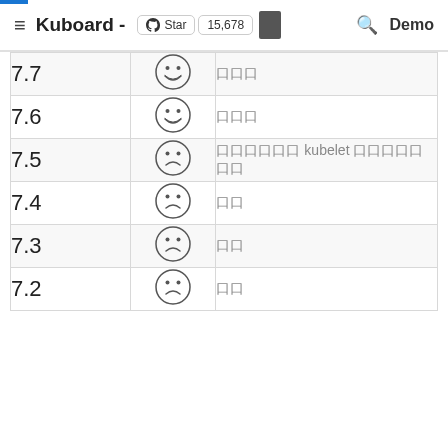≡ Kuboard - ★ Star 15,678 | Demo
| Version | Status | Description |
| --- | --- | --- |
| 7.7 | 😄 | 口口口 |
| 7.6 | 😄 | 口口口 |
| 7.5 | 😢 | 口口口口口口 kubelet 口口口口口口口 |
| 7.4 | 😢 | 口口 |
| 7.3 | 😢 | 口口 |
| 7.2 | 😢 | 口口 |